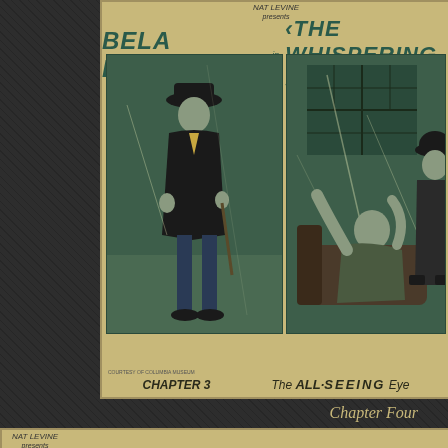[Figure (photo): Lobby card for 'The Whispering Shadow' serial, Chapter 3 'The All-Seeing Eye', featuring Bela Lugosi presented by Nat Levine. Shows a man in dark coat and hat standing on the left panel, and a scene with a person in distress on a couch with another figure looming over them on the right panel. Sepia/green tinted vintage movie lobby card.]
Chapter Four
[Figure (photo): Second lobby card for 'The Whispering Shadow' serial, also presented by Nat Levine featuring Bela Lugosi. Shows the top portion with the serial title text, partially visible.]